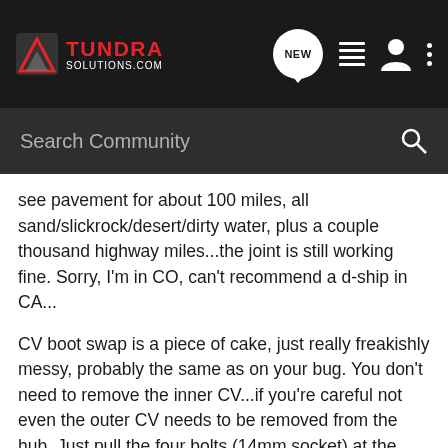TUNDRA SOLUTIONS.COM — navigation bar with NEW, list, user, and more icons
Search Community
see pavement for about 100 miles, all sand/slickrock/desert/dirty water, plus a couple thousand highway miles...the joint is still working fine. Sorry, I'm in CO, can't recommend a d-ship in CA...
CV boot swap is a piece of cake, just really freakishly messy, probably the same as on your bug. You don't need to remove the inner CV...if you're careful not even the outer CV needs to be removed from the hub. Just pull the four bolts (14mm socket) at the bottom of the steering knuckle, pull the inner boot back, pop the snap ring (it's in a retainer, very handy) and slide the axle out of the inner CV joint. It can be a little tricky getting the axle back in like this, it may be easier to just remove the nut on the stub shaft before you take apart the spindle/steering knuckle assembly, and just slide the whole thing out. It's